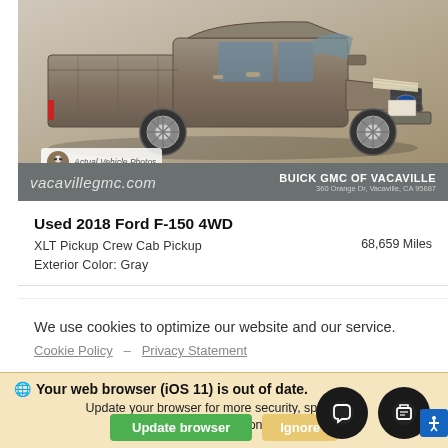[Figure (photo): Gray Ford F-150 pickup truck photographed from front-left angle. Dealer photo with vacavillegmc.com branding and 'Buick GMC of Vacaville, 360 Orange Dr, Vacaville, CA 95687' text on banner. 'Actual Vehicle Photos' badge visible.]
Used 2018 Ford F-150 4WD
XLT Pickup Crew Cab Pickup
Exterior Color: Gray
68,659 Miles
We use cookies to optimize our website and our service.
Cookie Policy   Privacy Statement
Your web browser (iOS 11) is out of date. Update your browser for more security, speed and the best experience on this site.
Update browser   Ignore